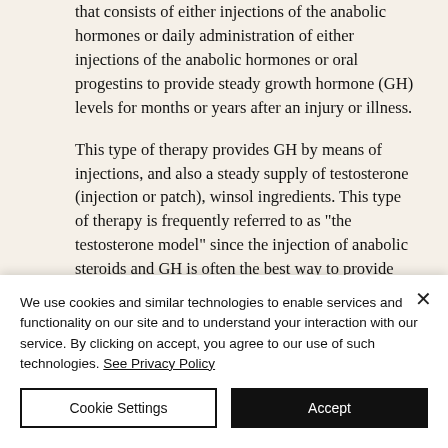that consists of either injections of the anabolic hormones or daily administration of either injections of the anabolic hormones or oral progestins to provide steady growth hormone (GH) levels for months or years after an injury or illness.
This type of therapy provides GH by means of injections, and also a steady supply of testosterone (injection or patch), winsol ingredients. This type of therapy is frequently referred to as "the testosterone model" since the injection of anabolic steroids and GH is often the best way to provide both.
We use cookies and similar technologies to enable services and functionality on our site and to understand your interaction with our service. By clicking on accept, you agree to our use of such technologies. See Privacy Policy